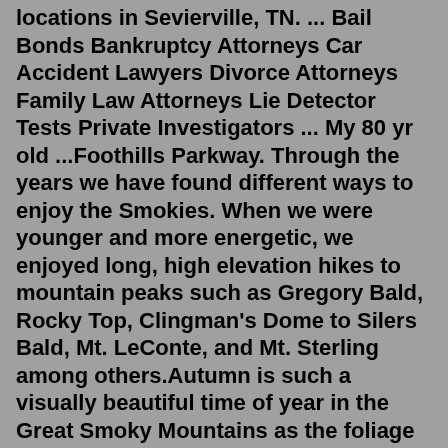locations in Sevierville, TN. ... Bail Bonds Bankruptcy Attorneys Car Accident Lawyers Divorce Attorneys Family Law Attorneys Lie Detector Tests Private Investigators ... My 80 yr old ...Foothills Parkway. Through the years we have found different ways to enjoy the Smokies. When we were younger and more energetic, we enjoyed long, high elevation hikes to mountain peaks such as Gregory Bald, Rocky Top, Clingman's Dome to Silers Bald, Mt. LeConte, and Mt. Sterling among others.Autumn is such a visually beautiful time of year in the Great Smoky Mountains as the foliage dons its brilliant fall Joseph's Coat of reds, purples, amber and orange. But the seasonal change in the Womb of the World has its more fickle side. ... Yesterday, I was exhausted from too many 12 hour days of editing, so I scratched out a short ...Jul 10, 2022 · 97-725 - Great Smoky Mountains NP (NC/TN) - Airplane Crash with Fatality. A Cessna 182 crashed approximately a half mile east of the Russell Field trail shelter and 200 yards south of the